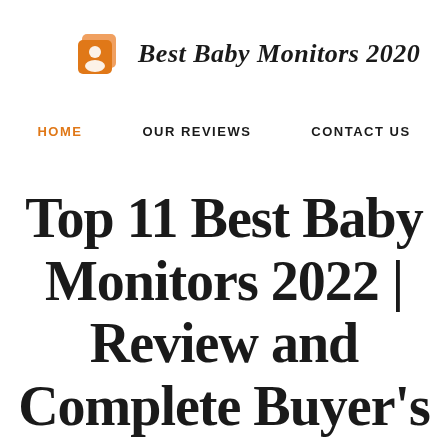[Figure (logo): Orange square logo icon with a person/photo symbol, next to the italic bold text 'Best Baby Monitors 2020']
HOME   OUR REVIEWS   CONTACT US
Top 11 Best Baby Monitors 2022 | Review and Complete Buyer's